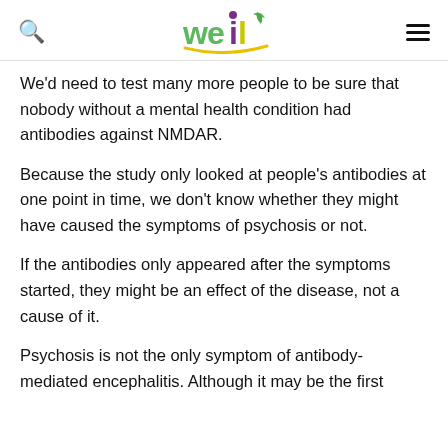weil [logo]
We'd need to test many more people to be sure that nobody without a mental health condition had antibodies against NMDAR.
Because the study only looked at people's antibodies at one point in time, we don't know whether they might have caused the symptoms of psychosis or not.
If the antibodies only appeared after the symptoms started, they might be an effect of the disease, not a cause of it.
Psychosis is not the only symptom of antibody-mediated encephalitis. Although it may be the first